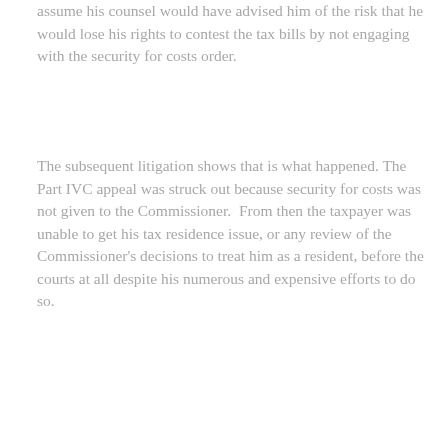assume his counsel would have advised him of the risk that he would lose his rights to contest the tax bills by not engaging with the security for costs order.
The subsequent litigation shows that is what happened. The Part IVC appeal was struck out because security for costs was not given to the Commissioner.  From then the taxpayer was unable to get his tax residence issue, or any review of the Commissioner's decisions to treat him as a resident, before the courts at all despite his numerous and expensive efforts to do so.